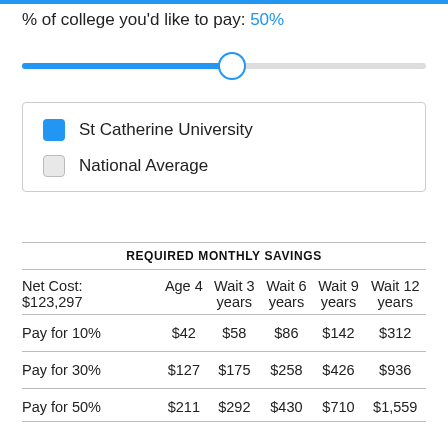% of college you'd like to pay: 50%
[Figure (other): A horizontal slider set to approximately 50%, with a blue filled track on the left and a circular thumb marker.]
St Catherine University (blue checkbox)
National Average (empty checkbox)
REQUIRED MONTHLY SAVINGS
| Net Cost: $123,297 | Age 4 | Wait 3 years | Wait 6 years | Wait 9 years | Wait 12 years |
| --- | --- | --- | --- | --- | --- |
| Pay for 10% | $42 | $58 | $86 | $142 | $312 |
| Pay for 30% | $127 | $175 | $258 | $426 | $936 |
| Pay for 50% | $211 | $292 | $430 | $710 | $1,559 |